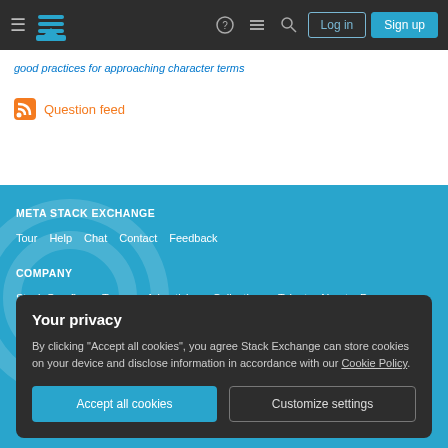Stack Exchange navigation bar with hamburger menu, logo, help, chat, search icons, Log in and Sign up buttons
good practices for approaching character terms
Question feed
META STACK EXCHANGE
Tour  Help  Chat  Contact  Feedback
COMPANY
Stack Overflow  Teams  Advertising  Collectives  Talent  About  Press
Legal  Privacy Policy  Terms of Service  Cookie Settings  Cookie Policy
STACK EXCHANGE NETWORK
Your privacy
By clicking "Accept all cookies", you agree Stack Exchange can store cookies on your device and disclose information in accordance with our Cookie Policy.
Accept all cookies
Customize settings